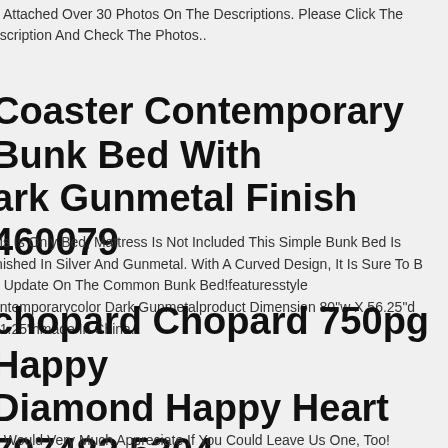e Attached Over 30 Photos On The Descriptions. Please Click The escription And Check The Photos..
Coaster Contemporary Bunk Bed With ark Gunmetal Finish 460079
his Is Only Bed, Mattress Is Not Included This Simple Bunk Bed Is inished In Silver And Gunmetal. With A Curved Design, It Is Sure To B n Update On The Common Bunk Bed!featuresstyle ontemporarycolor Dark Gunmetalproduct Dimension 80"w X 56.25"d 61.25"hmade In China.
chopard Chopard 750pg Happy Diamond Happy Heart 797482 5304 Necklace 750 Pink
e Would Very Much Appreciate If You Could Leave Us One, Too!